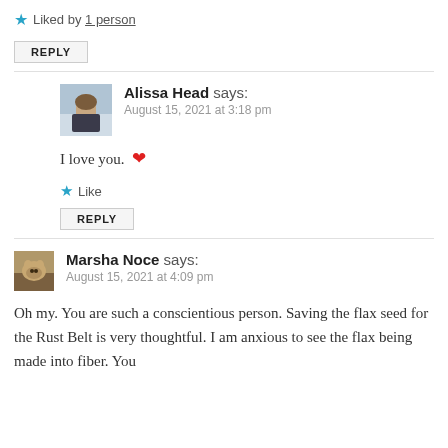★ Liked by 1 person
REPLY
Alissa Head says:
August 15, 2021 at 3:18 pm
I love you. ❤
★ Like
REPLY
Marsha Noce says:
August 15, 2021 at 4:09 pm
Oh my. You are such a conscientious person. Saving the flax seed for the Rust Belt is very thoughtful. I am anxious to see the flax being made into fiber. You